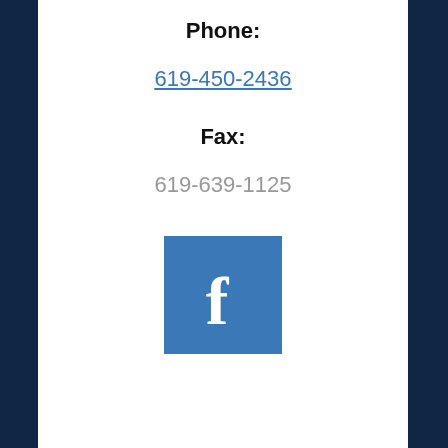Phone:
619-450-2436
Fax:
619-639-1125
[Figure (logo): Facebook icon square button with lowercase f in white on blue background]
REVIEW US